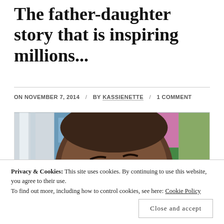The father-daughter story that is inspiring millions...
ON NOVEMBER 7, 2014 / BY KASSIENETTE / 1 COMMENT
[Figure (photo): Close-up selfie photo of a Black man with a shaved head in an urban setting with colorful building reflections in the background]
Privacy & Cookies: This site uses cookies. By continuing to use this website, you agree to their use.
To find out more, including how to control cookies, see here: Cookie Policy
Close and accept